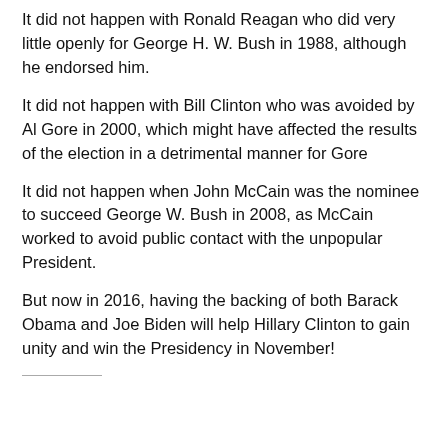It did not happen with Ronald Reagan who did very little openly for George H. W. Bush in 1988, although he endorsed him.
It did not happen with Bill Clinton who was avoided by Al Gore in 2000, which might have affected the results of the election in a detrimental manner for Gore
It did not happen when John McCain was the nominee to succeed George W. Bush in 2008, as McCain worked to avoid public contact with the unpopular President.
But now in 2016, having the backing of both Barack Obama and Joe Biden will help Hillary Clinton to gain unity and win the Presidency in November!